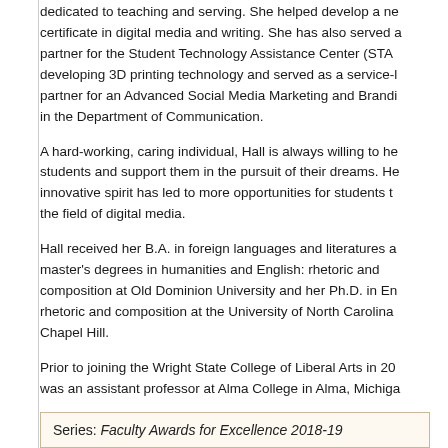dedicated to teaching and serving. She helped develop a new certificate in digital media and writing. She has also served as a partner for the Student Technology Assistance Center (STAC), developing 3D printing technology and served as a service-learning partner for an Advanced Social Media Marketing and Branding course in the Department of Communication.
A hard-working, caring individual, Hall is always willing to help students and support them in the pursuit of their dreams. Her innovative spirit has led to more opportunities for students to enter the field of digital media.
Hall received her B.A. in foreign languages and literatures and master's degrees in humanities and English: rhetoric and composition at Old Dominion University and her Ph.D. in English: rhetoric and composition at the University of North Carolina at Chapel Hill.
Prior to joining the Wright State College of Liberal Arts in 2013, she was an assistant professor at Alma College in Alma, Michigan.
Series: Faculty Awards for Excellence 2018-19